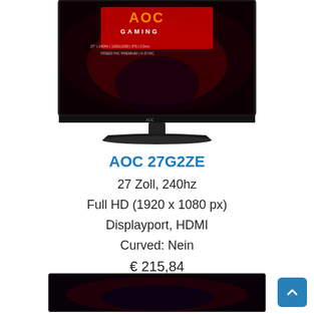[Figure (photo): AOC Gaming monitor showing gaming display screen with AOC Gaming logo and red/black design, viewed from front, with stand]
AOC 27G2ZE
27 Zoll, 240hz
Full HD (1920 x 1080 px)
Displayport, HDMI
Curved: Nein
€ 215,84
[Figure (photo): Bottom portion of another gaming monitor showing a dark gaming scene on screen]